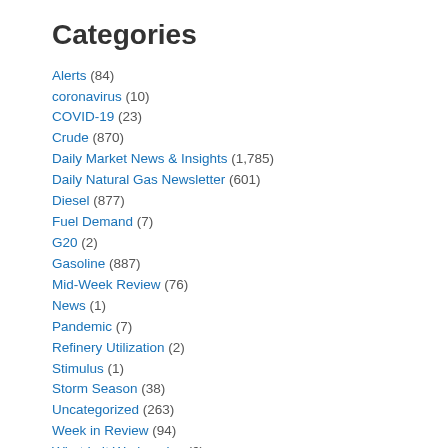Categories
Alerts (84)
coronavirus (10)
COVID-19 (23)
Crude (870)
Daily Market News & Insights (1,785)
Daily Natural Gas Newsletter (601)
Diesel (877)
Fuel Demand (7)
G20 (2)
Gasoline (887)
Mid-Week Review (76)
News (1)
Pandemic (7)
Refinery Utilization (2)
Stimulus (1)
Storm Season (38)
Uncategorized (263)
Week in Review (94)
What Is It Wednesday (6)